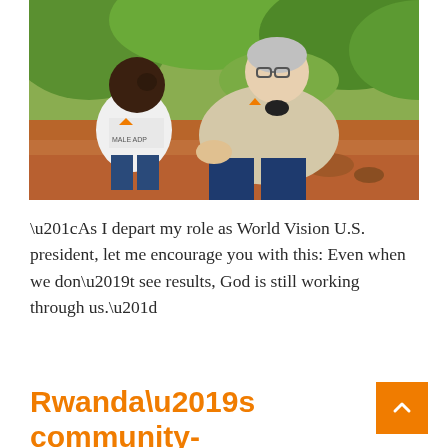[Figure (photo): A young African child in a white World Vision ADP t-shirt sitting and smiling next to an older white man with glasses wearing a beige World Vision polo shirt, sitting outdoors with trees and red earth in the background.]
“As I depart my role as World Vision U.S. president, let me encourage you with this: Even when we don’t see results, God is still working through us.”
Rwanda’s community-based health care is on the